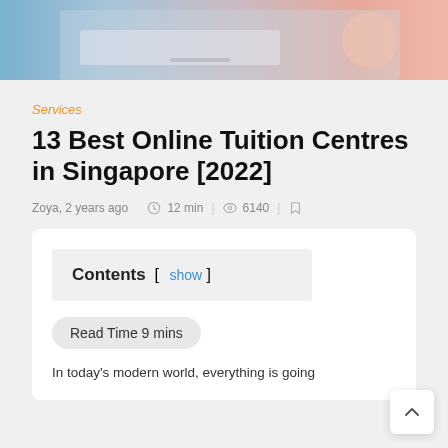[Figure (photo): Hero image of a student studying online, with pencils and a laptop, person wearing pink top visible]
Services
13 Best Online Tuition Centres in Singapore [2022]
Zoya, 2 years ago  |  12 min  |  6140  |  bookmark
Contents  [ show ]
Read Time 9 mins
In today's modern world, everything is going online, so why not education? While it seems...